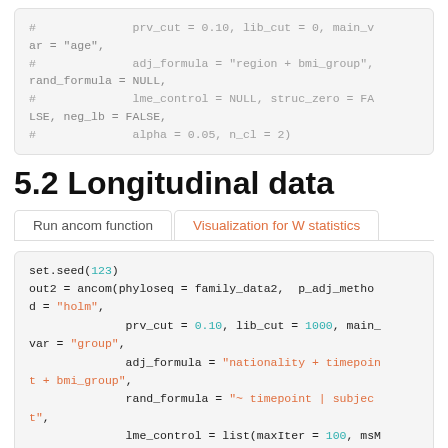# prv_cut = 0.10, lib_cut = 0, main_var = "age",
# adj_formula = "region + bmi_group", rand_formula = NULL,
# lme_control = NULL, struc_zero = FALSE, neg_lb = FALSE,
# alpha = 0.05, n_cl = 2)
5.2 Longitudinal data
Run ancom function | Visualization for W statistics
set.seed(123)
out2 = ancom(phyloseq = family_data2,  p_adj_method = "holm",
             prv_cut = 0.10, lib_cut = 1000, main_var = "group",
             adj_formula = "nationality + timepoint + bmi_group",
             rand_formula = "~ timepoint | subject",
             lme_control = list(maxIter = 100, msM